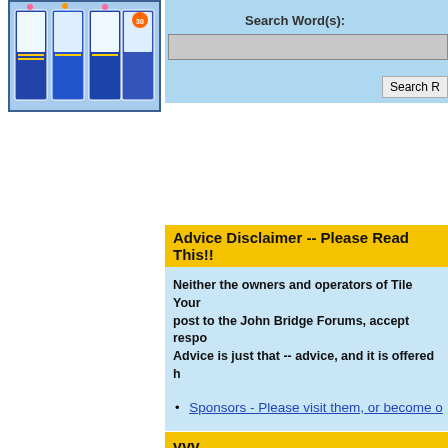[Figure (photo): Thumbnail images of tile/flooring books with colorful covers against a blue background]
Search Word(s):
Search R
Advice Disclaimer -- Please Read This!!
Neither the owners and operators of Tile Your post to the John Bridge Forums, accept respo... Advice is just that -- advice, and it is offered h conditions constantly change, we cannot be h incurred or losses sustained by anyone in the who contributes to these forums. By using Til hold everyone involved free from liability of ar
John Bridge & Associates LLC
Sponsors - Please visit them, or become o
vvv